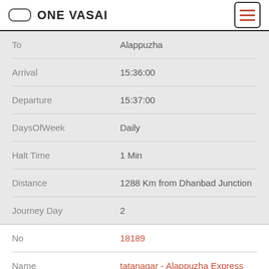ONE VASAI
| Field | Value |
| --- | --- |
| To | Alappuzha |
| Arrival | 15:36:00 |
| Departure | 15:37:00 |
| DaysOfWeek | Daily |
| Halt Time | 1 Min |
| Distance | 1288 Km from Dhanbad Junction |
| Journey Day | 2 |
| No | 18189 |
| Name | tatanagar - Alappuzha Express (EE) |
| From | Tatanagar Junction |